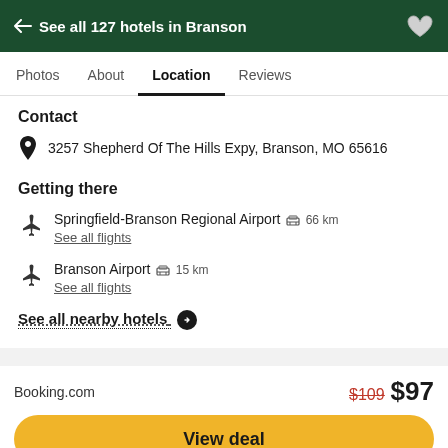← See all 127 hotels in Branson
Photos  About  Location  Reviews
Contact
3257 Shepherd Of The Hills Expy, Branson, MO 65616
Getting there
Springfield-Branson Regional Airport  66 km
See all flights
Branson Airport  15 km
See all flights
See all nearby hotels ❯
Booking.com  $109  $97
View deal
Visit hotel website ↗